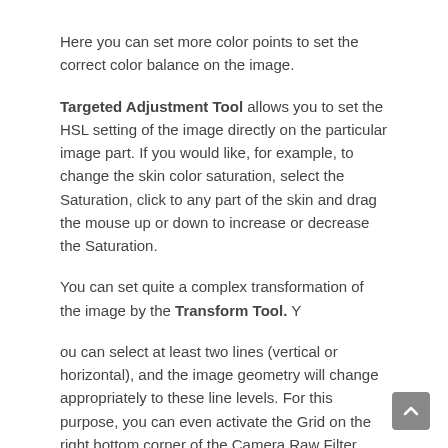Here you can set more color points to set the correct color balance on the image.
Targeted Adjustment Tool allows you to set the HSL setting of the image directly on the particular image part. If you would like, for example, to change the skin color saturation, select the Saturation, click to any part of the skin and drag the mouse up or down to increase or decrease the Saturation.
You can set quite a complex transformation of the image by the Transform Tool. You can select at least two lines (vertical or horizontal), and the image geometry will change appropriately to these line levels. For this purpose, you can even activate the Grid on the right bottom corner of the Camera Raw Filter window.